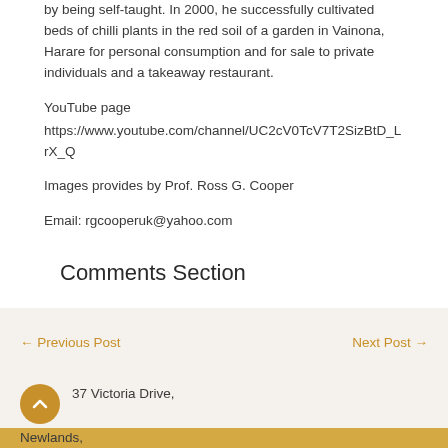by being self-taught. In 2000, he successfully cultivated beds of chilli plants in the red soil of a garden in Vainona, Harare for personal consumption and for sale to private individuals and a takeaway restaurant.
YouTube page
https://www.youtube.com/channel/UC2cV0TcV7T2SizBtD_LrX_Q
Images provides by Prof. Ross G. Cooper
Email: rgcooperuk@yahoo.com
Comments Section
← Previous Post    Next Post →
37 Victoria Drive,
Newlands,